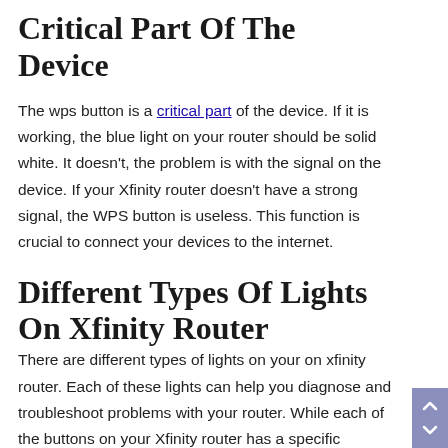Critical Part Of The Device
The wps button is a critical part of the device. If it is working, the blue light on your router should be solid white. It doesn't, the problem is with the signal on the device. If your Xfinity router doesn't have a strong signal, the WPS button is useless. This function is crucial to connect your devices to the internet.
Different Types Of Lights On Xfinity Router
There are different types of lights on your on xfinity router. Each of these lights can help you diagnose and troubleshoot problems with your router. While each of the buttons on your Xfinity router has a specific function, the